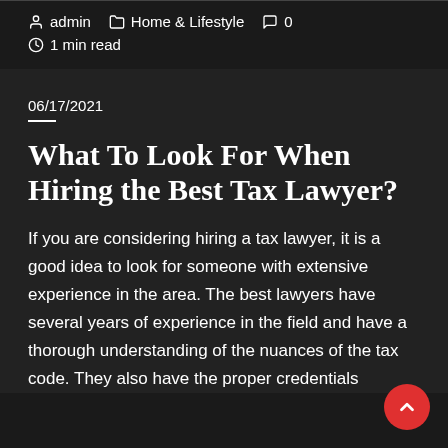admin   Home & Lifestyle   0   1 min read
06/17/2021
What To Look For When Hiring the Best Tax Lawyer?
If you are considering hiring a tax lawyer, it is a good idea to look for someone with extensive experience in the area. The best lawyers have several years of experience in the field and have a thorough understanding of the nuances of the tax code. They also have the proper credentials